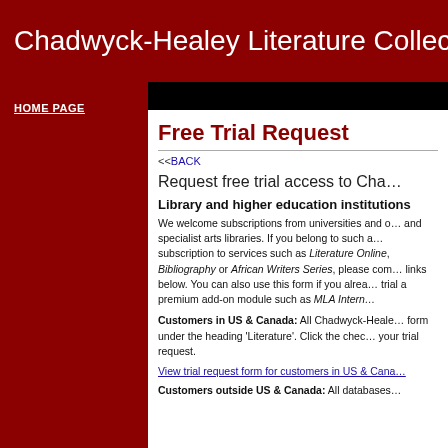Chadwyck-Healey Literature Collectio…
HOME PAGE
Free Trial Request
<<BACK
Request free trial access to Cha…
Library and higher education institutions
We welcome subscriptions from universities and o… and specialist arts libraries. If you belong to such a… subscription to services such as Literature Online, … Bibliography or African Writers Series, please com… links below. You can also use this form if you alrea… trial a premium add-on module such as MLA Intern…
Customers in US & Canada: All Chadwyck-Heale… form under the heading 'Literature'. Click the chec… your trial request.
View trial request form for customers in US & Cana…
Customers outside US & Canada: All databases…